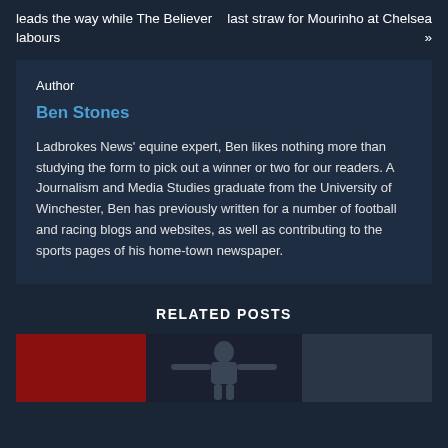leads the way while The Believer labours
last straw for Mourinho at Chelsea »
Author
Ben Stones
Ladbrokes News' equine expert, Ben likes nothing more than studying the form to pick out a winner or two for our readers. A Journalism and Media Studies graduate from the University of Winchester, Ben has previously written for a number of football and racing blogs and websites, as well as contributing to the sports pages of his home-town newspaper.
RELATED POSTS
[Figure (photo): Partial image of a person with arms outstretched, appears to be a sports action photo]